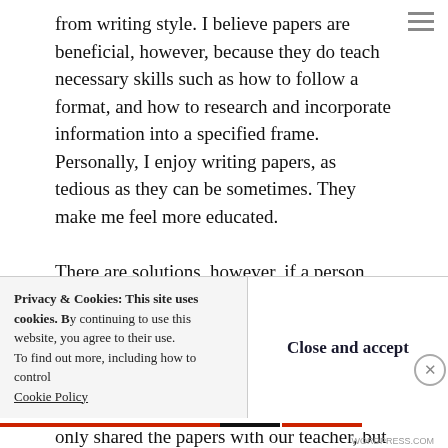from writing style. I believe papers are beneficial, however, because they do teach necessary skills such as how to follow a format, and how to research and incorporate information into a specified frame. Personally, I enjoy writing papers, as tedious as they can be sometimes. They make me feel more educated.

There are solutions, however, if a person would like to make them more blog-like, as in having people discuss and comment and critique. We used Google Docs for my AP English class this year, and that could really open up the potential of papers. We usually only shared the papers with our teacher, but widening the sharing to an
Privacy & Cookies: This site uses cookies. By continuing to use this website, you agree to their use. To find out more, including how to control cookies, see here: Cookie Policy
Close and accept